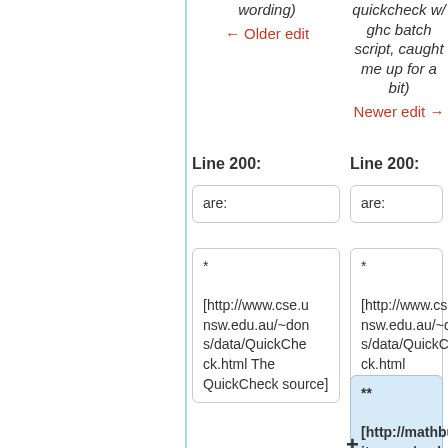wording)
← Older edit
quickcheck w/ ghc batch script, caught me up for a bit)
Newer edit →
Line 200:
Line 200:
are:
are:
* [http://www.cse.unsw.edu.au/~dons/data/QuickCheck.html The QuickCheck source]
* [http://www.cse.unsw.edu.au/~dons/data/QuickCheck.html The QuickCheck source]
** [http://mathburritos.org/code/da rcsweb/browse ?